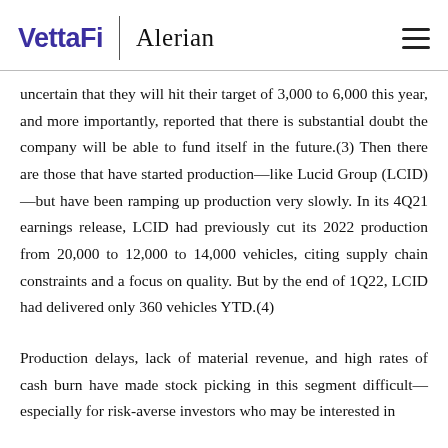VettaFi | Alerian
uncertain that they will hit their target of 3,000 to 6,000 this year, and more importantly, reported that there is substantial doubt the company will be able to fund itself in the future.(3) Then there are those that have started production—like Lucid Group (LCID)—but have been ramping up production very slowly. In its 4Q21 earnings release, LCID had previously cut its 2022 production from 20,000 to 12,000 to 14,000 vehicles, citing supply chain constraints and a focus on quality. But by the end of 1Q22, LCID had delivered only 360 vehicles YTD.(4)
Production delays, lack of material revenue, and high rates of cash burn have made stock picking in this segment difficult—especially for risk-averse investors who may be interested in